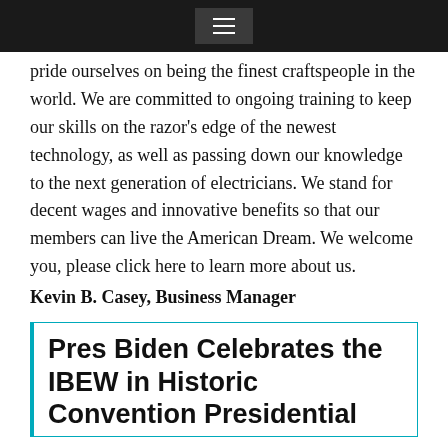☰
pride ourselves on being the finest craftspeople in the world. We are committed to ongoing training to keep our skills on the razor's edge of the newest technology, as well as passing down our knowledge to the next generation of electricians. We stand for decent wages and innovative benefits so that our members can live the American Dream. We welcome you, please click here to learn more about us.
Kevin B. Casey, Business Manager
Pres Biden Celebrates the IBEW in Historic Convention Presidential